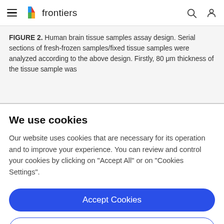frontiers
FIGURE 2. Human brain tissue samples assay design. Serial sections of fresh-frozen samples/fixed tissue samples were analyzed according to the above design. Firstly, 80 μm thickness of the tissue sample was
We use cookies
Our website uses cookies that are necessary for its operation and to improve your experience. You can review and control your cookies by clicking on "Accept All" or on "Cookies Settings".
Accept Cookies
Cookies Settings